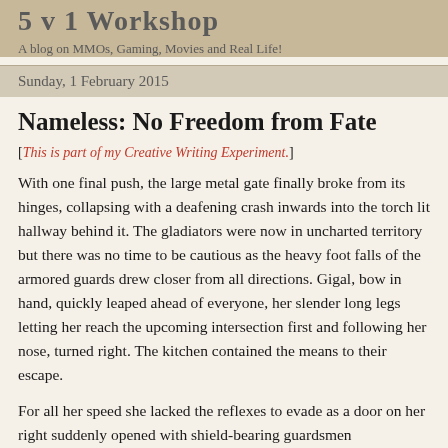5 v 1 Workshop
A blog on MMOs, Gaming, Movies and Real Life!
Sunday, 1 February 2015
Nameless: No Freedom from Fate
[This is part of my Creative Writing Experiment.]
With one final push, the large metal gate finally broke from its hinges, collapsing with a deafening crash inwards into the torch lit hallway behind it. The gladiators were now in uncharted territory but there was no time to be cautious as the heavy foot falls of the armored guards drew closer from all directions. Gigal, bow in hand, quickly leaped ahead of everyone, her slender long legs letting her reach the upcoming intersection first and following her nose, turned right. The kitchen contained the means to their escape.
For all her speed she lacked the reflexes to evade as a door on her right suddenly opened with shield-bearing guardsmen